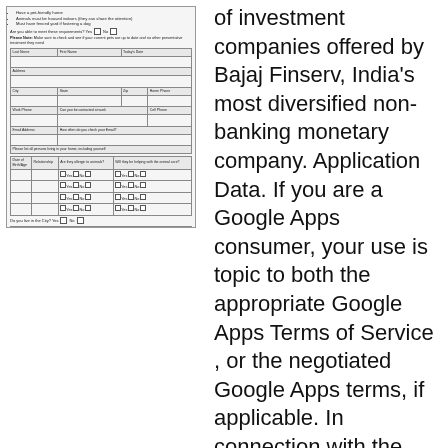[Figure (other): Scanned image of a pet fostering application form with fields for personal information, household members, and animal preferences]
of investment companies offered by Bajaj Finserv, India's most diversified non-banking monetary company. Application Data. If you are a Google Apps consumer, your use is topic to both the appropriate Google Apps Terms of Service , or the negotiated Google Apps terms, if applicable. In connection with the foregoing grant to make use of the Plex Answer, the Plex Answer lets you view or in any other case entry authentic Plex or third occasion Content.
It's possible you'll opt out of receiving the advertising and marketing e-newsletter from us by accessing your